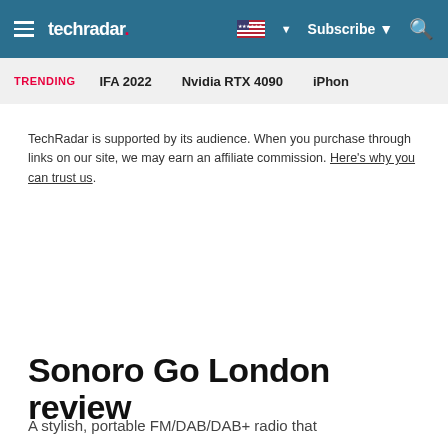techradar | Subscribe
TRENDING  IFA 2022  Nvidia RTX 4090  iPhon
TechRadar is supported by its audience. When you purchase through links on our site, we may earn an affiliate commission. Here's why you can trust us.
Sonoro Go London review
A stylish, portable FM/DAB/DAB+ radio that